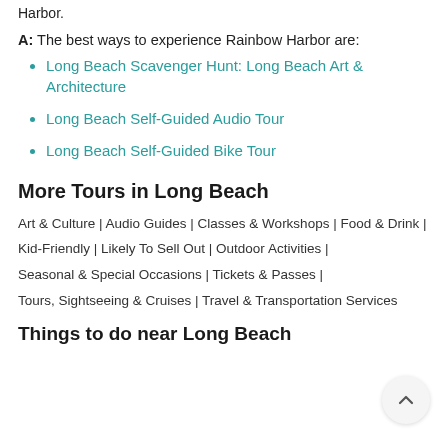Harbor.
A:  The best ways to experience Rainbow Harbor are:
Long Beach Scavenger Hunt: Long Beach Art & Architecture
Long Beach Self-Guided Audio Tour
Long Beach Self-Guided Bike Tour
More Tours in Long Beach
Art & Culture | Audio Guides | Classes & Workshops | Food & Drink | Kid-Friendly | Likely To Sell Out | Outdoor Activities | Seasonal & Special Occasions | Tickets & Passes | Tours, Sightseeing & Cruises | Travel & Transportation Services
Things to do near Long Beach